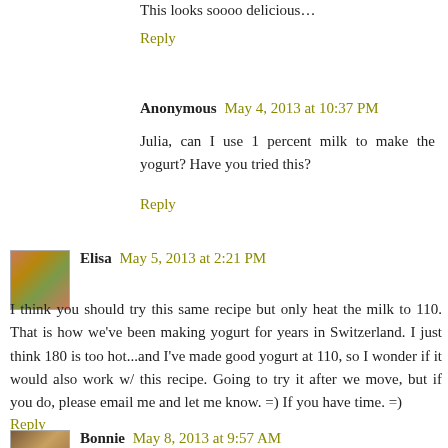This looks soooo delicious…
Reply
Anonymous  May 4, 2013 at 10:37 PM
Julia, can I use 1 percent milk to make the yogurt? Have you tried this?
Reply
Elisa  May 5, 2013 at 2:21 PM
I think you should try this same recipe but only heat the milk to 110. That is how we've been making yogurt for years in Switzerland. I just think 180 is too hot...and I've made good yogurt at 110, so I wonder if it would also work w/ this recipe. Going to try it after we move, but if you do, please email me and let me know. =) If you have time. =)
Reply
Bonnie  May 8, 2013 at 9:57 AM